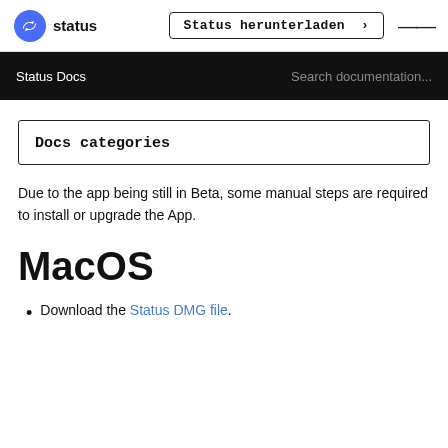status  |  Status herunterladen >  ≡
Status Docs    Search documentation...
Docs categories
Due to the app being still in Beta, some manual steps are required to install or upgrade the App.
MacOS
Download the Status DMG file.